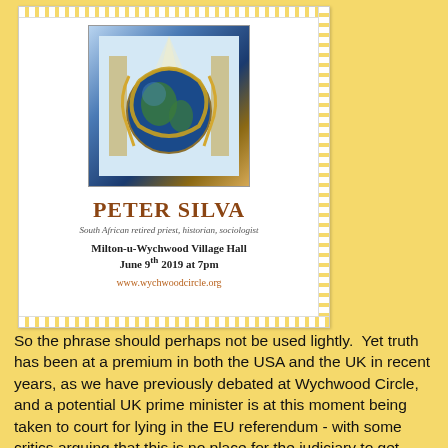[Figure (illustration): Event poster for Peter Silva talk at Milton-u-Wychwood Village Hall. Features a decorative globe illustration at top with golden serpentine figures around a blue Earth. Styled as a perforated stamp. Text includes speaker name, subtitle, venue, date and website.]
So the phrase should perhaps not be used lightly. Yet truth has been at a premium in both the USA and the UK in recent years, as we have previously debated at Wychwood Circle, and a potential UK prime minister is at this moment being taken to court for lying in the EU referendum - with some critics arguing that this is no place for the judiciary to get involved since 'politicians always lie' while continental diplomats cannot foresee doing any deals with a future prime minister who is known for his 'mendacity and duplicity'.